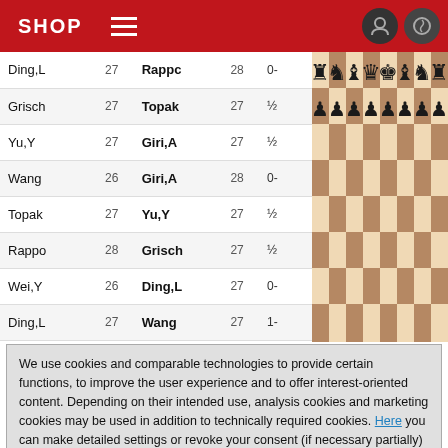SHOP
| Player1 | Rtg1 | Player2 | Rtg2 | Result |
| --- | --- | --- | --- | --- |
| Ding,L | 27 | Rappo | 28 | 0- |
| Grisch | 27 | Topak | 27 | ½ |
| Yu,Y | 27 | Giri,A | 27 | ½ |
| Wang | 26 | Giri,A | 28 | 0- |
| Topak | 27 | Yu,Y | 27 | ½ |
| Rappo | 28 | Grisch | 27 | ½ |
| Wei,Y | 26 | Ding,L | 27 | 0- |
| Ding,L | 27 | Wang | 27 | 1- |
| Grisch | 27 | Wei,Y | 27 | 1- |
[Figure (illustration): Chess board showing initial position with black pieces on top rows and empty middle rows, wooden board style]
We use cookies and comparable technologies to provide certain functions, to improve the user experience and to offer interest-oriented content. Depending on their intended use, analysis cookies and marketing cookies may be used in addition to technically required cookies. Here you can make detailed settings or revoke your consent (if necessary partially) with effect for the future. Further information can be found in our data protection declaration.